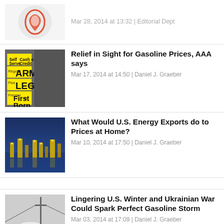Mar 28, 2014 at 13:32 | Editorial Dept
Relief in Sight for Gasoline Prices, AAA says
Mar 17, 2014 at 14:50 | Daniel J. Graeber
What Would U.S. Energy Exports do to Prices at Home?
Mar 10, 2014 at 17:50 | Daniel J. Graeber
Lingering U.S. Winter and Ukrainian War Could Spark Perfect Gasoline Storm
Mar 03, 2014 at 17:09 | Daniel J. Graeber
How to Profit From a Rise in Natural Gas Prices